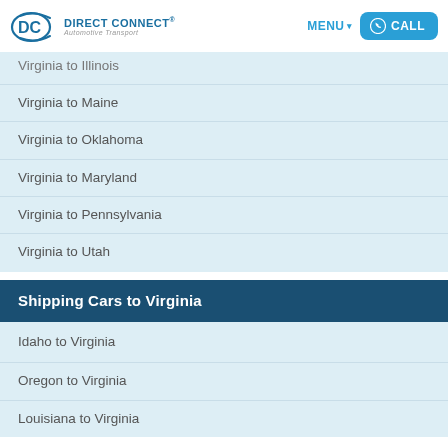DIRECT CONNECT® Automotive Transport | MENU | CALL
Virginia to Illinois
Virginia to Maine
Virginia to Oklahoma
Virginia to Maryland
Virginia to Pennsylvania
Virginia to Utah
Shipping Cars to Virginia
Idaho to Virginia
Oregon to Virginia
Louisiana to Virginia